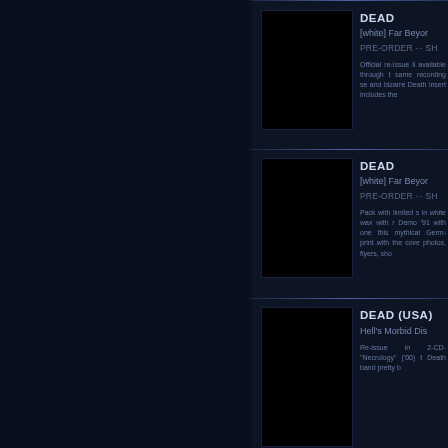[Figure (photo): Black album cover thumbnail for DEAD - Far Beyond]
DEAD
[white] Far Beyor
PRE-ORDER ··· SH
Official re-issue li... available through t... same recording se... and bizarre Death... insert includes the...
[Figure (photo): Black album cover thumbnail for DEAD - Far Beyond (second listing)]
DEAD
[white] Far Beyor
PRE-ORDER ··· SH
Pack with limited s... in white wax with r... Demo '91 with one... this mythical Germ... print with the cover... photos, flyers, sho...
[Figure (photo): Black album cover thumbnail for DEAD (USA) - Hell's Morbid Dis]
DEAD (USA)
Hell's Morbid Dis
Re-issue in 2-CD ... "Necrology" ('00) t... Death band pretty b...